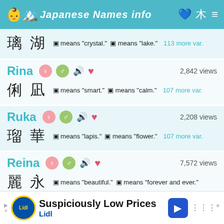Japanese Names info
璃湖 ▣ means "crystal." ▣ means "lake." 113 more var.
Rina ♀ ⚥ 🔊 ♥ 2,842 views
俐凪 ▣ means "smart." ▣ means "calm." 107 more var.
Ruka ♀ ⚥ 🔊 ♥ 2,208 views
瑠華 ▣ means "lapis." ▣ means "flower." 107 more var.
Reina ♀ ⚥ 🔊 ♥ 7,572 views
麗永 ▣ means "beautiful." ▣ means "forever and ever."
Suspiciously Low Prices Lidl